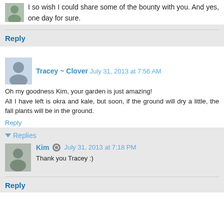I so wish I could share some of the bounty with you. And yes, one day for sure.
Reply
Tracey ~ Clover  July 31, 2013 at 7:56 AM
Oh my goodness Kim, your garden is just amazing! All I have left is okra and kale, but soon, if the ground will dry a little, the fall plants will be in the ground.
Reply
Replies
Kim  July 31, 2013 at 7:18 PM
Thank you Tracey :)
Reply